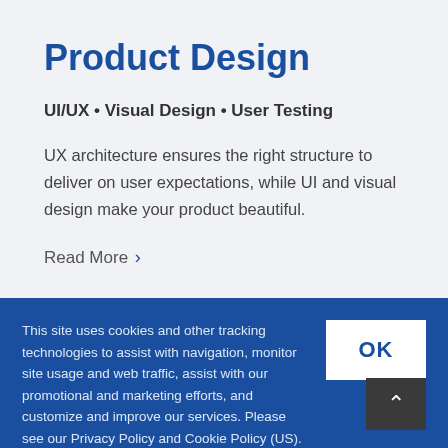Product Design
UI/UX • Visual Design • User Testing
UX architecture ensures the right structure to deliver on user expectations, while UI and visual design make your product beautiful.
Read More ›
This site uses cookies and other tracking technologies to assist with navigation, monitor site usage and web traffic, assist with our promotional and marketing efforts, and customize and improve our services. Please see our Privacy Policy and Cookie Policy (US).